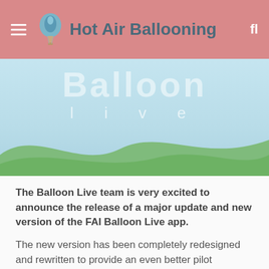Hot Air Ballooning
[Figure (illustration): Balloon Live app banner with stylized text 'Balloon Live' over a sky and green rolling hills landscape]
The Balloon Live team is very excited to announce the release of a major update and new version of the FAI Balloon Live app.
The new version has been completely redesigned and rewritten to provide an even better pilot experience and optimal in-flight functionality:
A brand new UI design with better look and feel.
Faster response to marker drop and goal